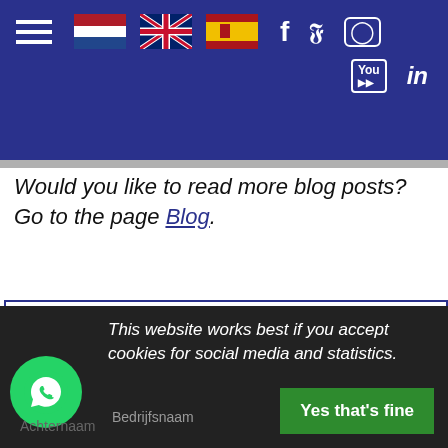Navigation header with hamburger menu, Dutch/English/Spanish flags, Facebook, Twitter, Instagram, YouTube, LinkedIn icons
Would you like to read more blog posts? Go to the page Blog.
Schrijf in je voor onze nieuwsbrief:
E-mailadres *
Voornaam
Achternaam
This website works best if you accept cookies for social media and statistics.
Yes that's fine
Bedrijfsnaam